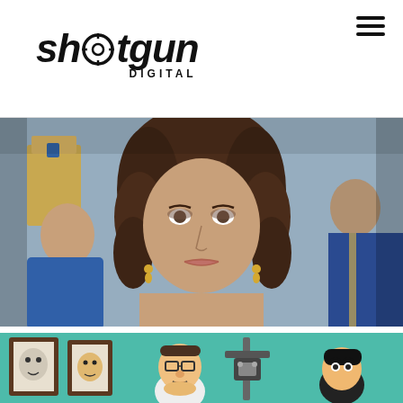shotgun DIGITAL — navigation header with hamburger menu
[Figure (photo): Film still showing a young woman with curly brown hair and gold earrings in the foreground, wearing period costume. Behind her are two other figures — an older woman in Egyptian-style headdress and gold jewelry on the left, and a figure in blue on the right. The setting appears to be a historical or biblical film production.]
[Figure (photo): Animated cartoon scene with a teal/mint green background. Shows animated characters in what appears to be a Family Guy style, with framed pictures on the wall and characters standing in a room with some equipment visible.]